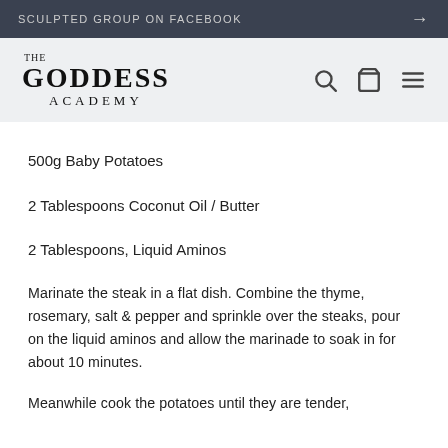SCULPTED GROUP ON FACEBOOK →
[Figure (logo): The Goddess Academy logo with search, cart, and menu icons]
500g Baby Potatoes
2 Tablespoons Coconut Oil / Butter
2 Tablespoons, Liquid Aminos
Marinate the steak in a flat dish. Combine the thyme, rosemary, salt & pepper and sprinkle over the steaks, pour on the liquid aminos and allow the marinade to soak in for about 10 minutes.
Meanwhile cook the potatoes until they are tender,